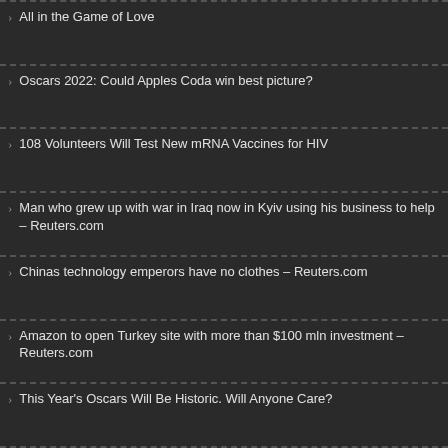All in the Game of Love
Oscars 2022: Could Apples Coda win best picture?
108 Volunteers Will Test New mRNA Vaccines for HIV
Man who grew up with war in Iraq now in Kyiv using his business to help – Reuters.com
Chinas technology emperors have no clothes – Reuters.com
Amazon to open Turkey site with more than $100 mln investment – Reuters.com
This Year's Oscars Will Be Historic. Will Anyone Care?